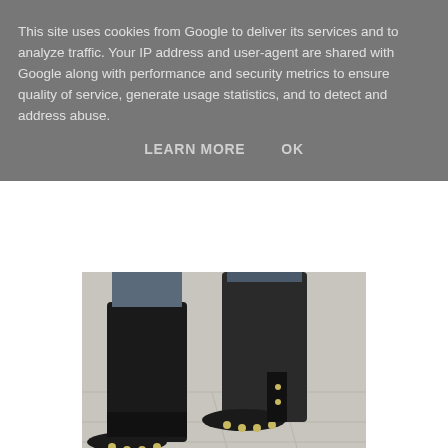This site uses cookies from Google to deliver its services and to analyze traffic. Your IP address and user-agent are shared with Google along with performance and security metrics to ensure quality of service, generate usage statistics, and to detect and address abuse.
LEARN MORE    OK
[Figure (photo): Close-up photo of a pair of black leather pointed-toe ankle boots with studded soles, worn by someone dressed in jeans, standing on a stone-paved surface.]
[Figure (photo): Photo of a woman wearing sunglasses and a black long-sleeve top, with long wavy hair, standing in front of a shop entrance.]